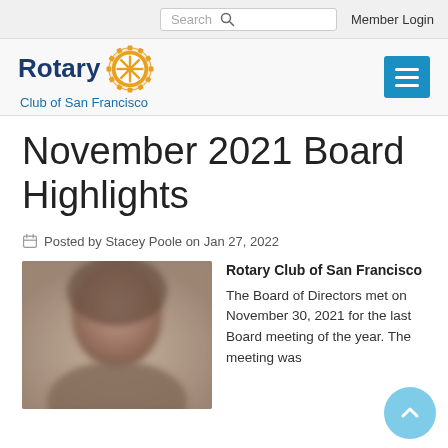Search | Member Login
[Figure (logo): Rotary Club of San Francisco logo with gear/wheel emblem]
November 2021 Board Highlights
Posted by Stacey Poole on Jan 27, 2022
[Figure (photo): Blurred portrait photo of a person]
Rotary Club of San Francisco
The Board of Directors met on November 30, 2021 for the last Board meeting of the year. The meeting was